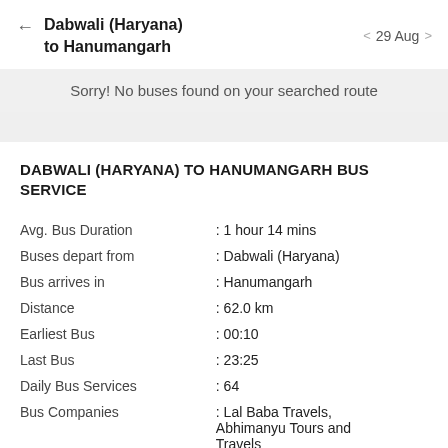Dabwali (Haryana) to Hanumangarh — 29 Aug
Sorry! No buses found on your searched route
DABWALI (HARYANA) TO HANUMANGARH BUS SERVICE
|  |  |
| --- | --- |
| Avg. Bus Duration | : 1 hour 14 mins |
| Buses depart from | : Dabwali (Haryana) |
| Bus arrives in | : Hanumangarh |
| Distance | : 62.0 km |
| Earliest Bus | : 00:10 |
| Last Bus | : 23:25 |
| Daily Bus Services | : 64 |
| Bus Companies | : Lal Baba Travels, Abhimanyu Tours and Travels |